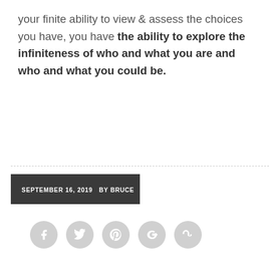your finite ability to view & assess the choices you have, you have the ability to explore the infiniteness of who and what you are and who and what you could be.
SEPTEMBER 16, 2019  BY BRUCE